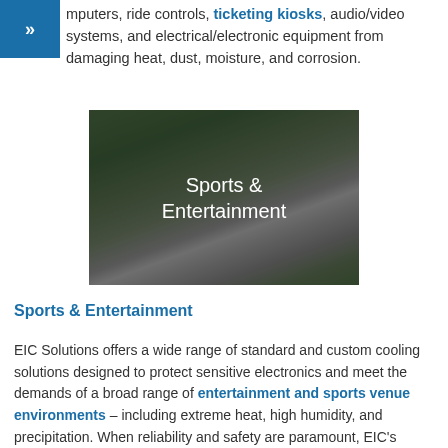mputers, ride controls, ticketing kiosks, audio/video systems, and electrical/electronic equipment from damaging heat, dust, moisture, and corrosion.
[Figure (photo): Aerial view of a sports and entertainment complex with stadium, arena structures, and parking lots, overlaid with white text reading 'Sports & Entertainment']
Sports & Entertainment
EIC Solutions offers a wide range of standard and custom cooling solutions designed to protect sensitive electronics and meet the demands of a broad range of entertainment and sports venue environments – including extreme heat, high humidity, and precipitation. When reliability and safety are paramount, EIC's control panel cooling systems are there to keep the equipment running smoothly by protecting LED scoreboards, sound and